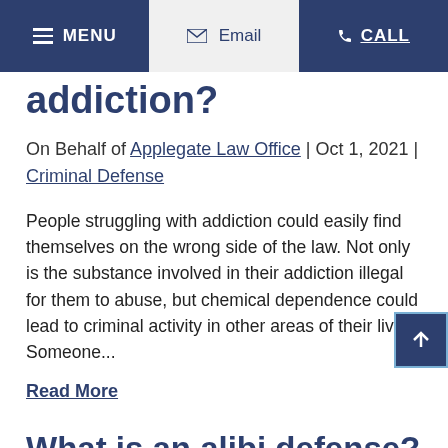MENU | Email | CALL
addiction?
On Behalf of Applegate Law Office | Oct 1, 2021 | Criminal Defense
People struggling with addiction could easily find themselves on the wrong side of the law. Not only is the substance involved in their addiction illegal for them to abuse, but chemical dependence could lead to criminal activity in other areas of their lives. Someone...
Read More
What is an alibi defense?